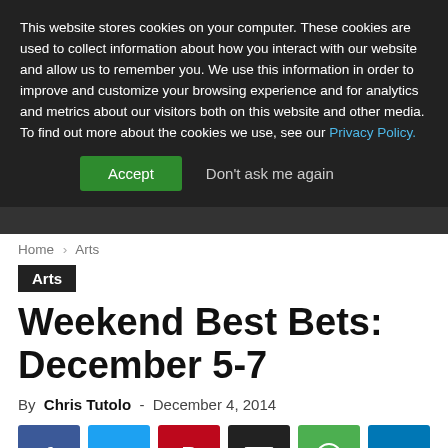This website stores cookies on your computer. These cookies are used to collect information about how you interact with our website and allow us to remember you. We use this information in order to improve and customize your browsing experience and for analytics and metrics about our visitors both on this website and other media. To find out more about the cookies we use, see our Privacy Policy.
Accept | Don't ask me again
Home › Arts
Arts
Weekend Best Bets: December 5-7
By Chris Tutolo - December 4, 2014
[Figure (other): Social sharing icons: Facebook, Twitter, Pinterest, Email, WhatsApp, LinkedIn]
Friday, December 5